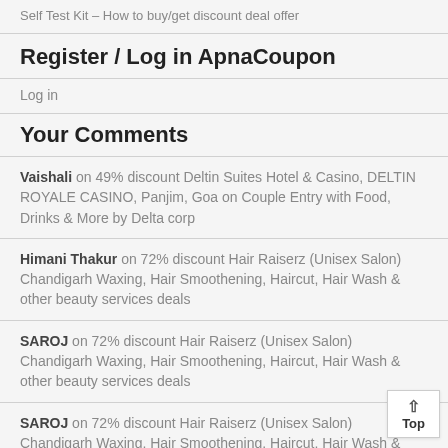Self Test Kit – How to buy/get discount deal offer
Register / Log in ApnaCoupon
Log in
Your Comments
Vaishali on 49% discount Deltin Suites Hotel & Casino, DELTIN ROYALE CASINO, Panjim, Goa on Couple Entry with Food, Drinks & More by Delta corp
Himani Thakur on 72% discount Hair Raiserz (Unisex Salon) Chandigarh Waxing, Hair Smoothening, Haircut, Hair Wash & other beauty services deals
SAROJ on 72% discount Hair Raiserz (Unisex Salon) Chandigarh Waxing, Hair Smoothening, Haircut, Hair Wash & other beauty services deals
SAROJ on 72% discount Hair Raiserz (Unisex Salon) Chandigarh Waxing, Hair Smoothening, Haircut, Hair Wash & other beauty services deals
gasto on 49% Discount The Barbeque Company New Delhi